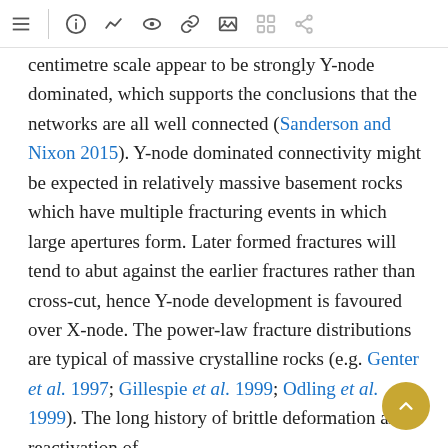[toolbar with navigation icons]
centimetre scale appear to be strongly Y-node dominated, which supports the conclusions that the networks are all well connected (Sanderson and Nixon 2015). Y-node dominated connectivity might be expected in relatively massive basement rocks which have multiple fracturing events in which large apertures form. Later formed fractures will tend to abut against the earlier fractures rather than cross-cut, hence Y-node development is favoured over X-node. The power-law fracture distributions are typical of massive crystalline rocks (e.g. Genter et al. 1997; Gillespie et al. 1999; Odling et al. 1999). The long history of brittle deformation and reactivation of